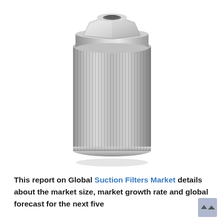[Figure (photo): A cylindrical metal suction filter with a hexagonal nut fitting on top. The body is made of ribbed/pleated metallic mesh material, silver-gray in color. The filter has a flat circular base and the top has a threaded hexagonal bolt head for installation.]
This report on Global Suction Filters Market details about the market size, market growth rate and global forecast for the next five